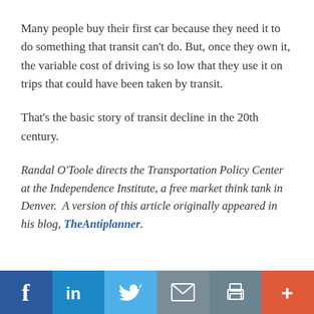Many people buy their first car because they need it to do something that transit can’t do. But, once they own it, the variable cost of driving is so low that they use it on trips that could have been taken by transit.
That’s the basic story of transit decline in the 20th century.
Randal O’Toole directs the Transportation Policy Center at the Independence Institute, a free market think tank in Denver. A version of this article originally appeared in his blog, TheAntiplanner.
[Figure (infographic): Social sharing bar with buttons for Facebook, LinkedIn, Twitter, Email, Print, and More (+)]